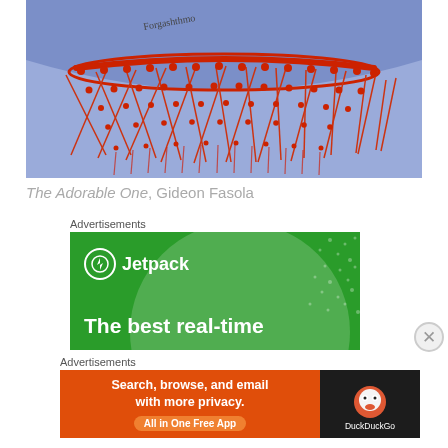[Figure (illustration): Close-up colored pencil drawing of a traditional beaded necklace/collar in red and blue, with intricate lattice/diamond pattern beadwork. Artist signature visible in upper left area.]
The Adorable One, Gideon Fasola
Advertisements
[Figure (screenshot): Jetpack advertisement banner on green background with circular light element and star dots. Shows Jetpack logo (lightning bolt in circle) and text 'The best real-time']
Advertisements
[Figure (screenshot): DuckDuckGo advertisement: orange left panel with text 'Search, browse, and email with more privacy. All in One Free App' and dark right panel with DuckDuckGo logo.]